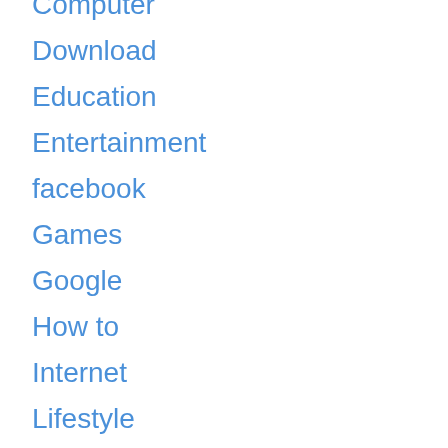Computer
Download
Education
Entertainment
facebook
Games
Google
How to
Internet
Lifestyle
Make money
Mobile
Off Topic
Online Marketing